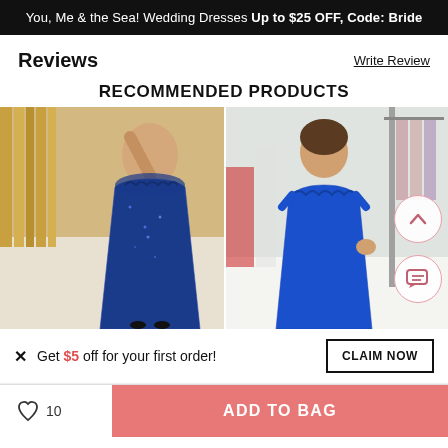You, Me & the Sea! Wedding Dresses Up to $25 OFF, Code: Bride
Reviews
Write Review
RECOMMENDED PRODUCTS
[Figure (photo): Two photos of women wearing royal blue off-shoulder mermaid gowns. Left photo shows a woman in a sparkly lace blue dress taking a mirror selfie. Right photo shows a woman in a smooth blue off-shoulder mermaid gown posing in a dress shop.]
Get $5 off for your first order!
CLAIM NOW
10  ADD TO BAG